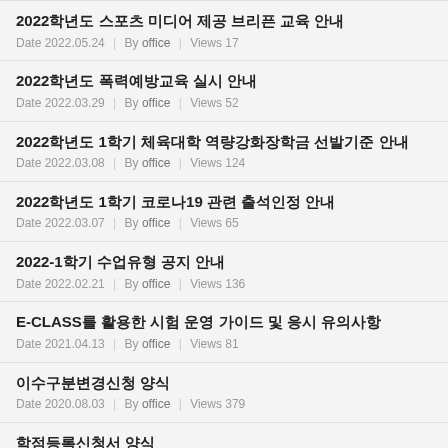2022학년도 스포츠 미디어 제공 브리픈 교육 안내
Date 2022.05.24 | By office | Views 17
2022학년도 폭력예방교육 실시 안내
Date 2022.03.29 | By office | Views 52
2022학년도 1학기 체육대학 역량강화장학금 선발기준 안내
Date 2022.03.08 | By office | Views 124
2022학년도 1학기 코로나19 관련 출석인정 안내
Date 2022.03.07 | By office | Views 65
2022-1학기 수업유형 공지 안내
Date 2022.02.21 | By office | Views 136
E-CLASS를 활용한 시험 운영 가이드 및 응시 유의사항
Date 2021.04.13 | By office | Views 81
이수구분변경신청 양식
Date 2020.08.03 | By office | Views 379
학점등록신청서 양식
Date 2020.03.09 | By office | Views 84